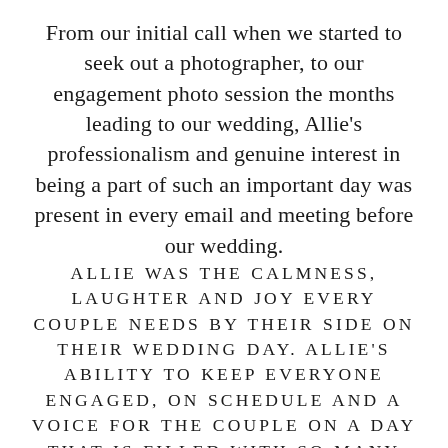From our initial call when we started to seek out a photographer, to our engagement photo session the months leading to our wedding, Allie's professionalism and genuine interest in being a part of such an important day was present in every email and meeting before our wedding.
ALLIE WAS THE CALMNESS, LAUGHTER AND JOY EVERY COUPLE NEEDS BY THEIR SIDE ON THEIR WEDDING DAY. ALLIE'S ABILITY TO KEEP EVERYONE ENGAGED, ON SCHEDULE AND A VOICE FOR THE COUPLE ON A DAY THAT IS FILLED WITH SO MANY EMOTIONS IS A TRUE TALENT AND GIFT TO EVERYONE WHO IS FORTUNATE TO WORK WITH HER.
But the real magic of Allie is the beautiful artwork she creates through her